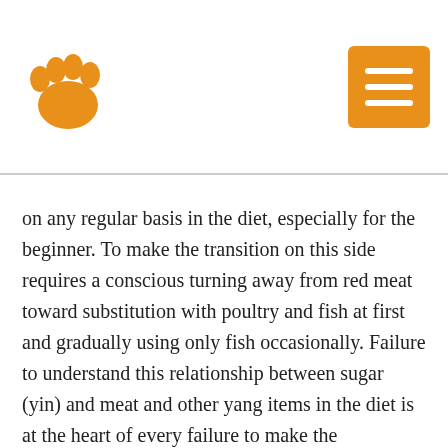[Figure (logo): Orange paw print logo on the left and an orange menu button with three white horizontal lines on the right, forming a website header.]
on any regular basis in the diet, especially for the beginner. To make the transition on this side requires a conscious turning away from red meat toward substitution with poultry and fish at first and gradually using only fish occasionally. Failure to understand this relationship between sugar (yin) and meat and other yang items in the diet is at the heart of every failure to make the macrobiotic transition. Anyone making the transition should be aware that each step along the way might produce some uncomfortable periods as the body begins to discharge old fat and toxins that have built up over the years. Some emotional adjustments may also be required as the mood swings and other mental effects of refined sugar use are changed. Rosanna offers the following insight into various aspects of this process of elimination.